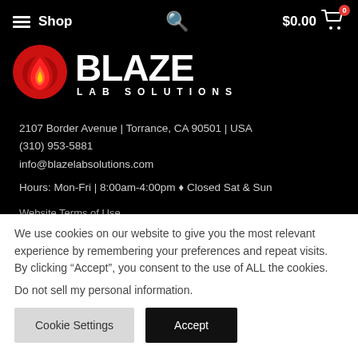Shop | $0.00 | 0
[Figure (logo): Blaze Lab Solutions logo — red circular flame icon on the left, stylized BLAZE text with LAB SOLUTIONS below on right, white on black background]
2107 Border Avenue | Torrance, CA 90501 | USA
(310) 953-5881
info@blazelabsolutions.com
Hours: Mon-Fri | 8:00am-4:00pm ♦ Closed Sat & Sun
Website Terms of Use
Website Privacy
We use cookies on our website to give you the most relevant experience by remembering your preferences and repeat visits. By clicking "Accept", you consent to the use of ALL the cookies.
Do not sell my personal information.